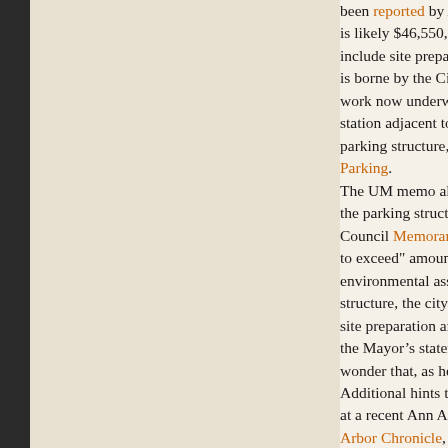been reported by AnnArbor.com as estimated at $40 mill... is likely $46,550,000, as approved by the UM Regents in... include site preparation of approximately $3 million, whi... is borne by the City of Ann Arbor. (Ed. note: Presumably work now underway.) Although concept drawings includ... station adjacent to the parking structure, what is being di... parking structure, as we detailed in our post, Fuller Road Parking.
The UM memo also notes that UM agrees to pay 78% of the parking structure, with the city picking up 22%; this Council Memorandum of Understanding. The UM mem... to exceed" amount of $36,309,000 and also notes that the environmental assessment. That means that in order to pa... structure, the city would need to come up with $10,241,0... site preparation and the environmental assessment). But the Mayor's statement that "the plan is that the city puts r... wonder that, as he says, "the conversation got a little con...
Additional hints that the process has been drifting askew... at a recent Ann Arbor Public Art Commission meeting wh... Arbor Chronicle, AAPAC commissioners were told that t... was being put on hold because the project was delayed by... But in an interview by AnnArbor.com, the Mayor said th...